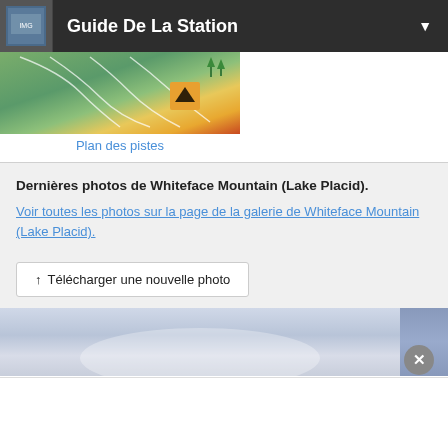Guide De La Station
[Figure (photo): Aerial trail map of ski resort with green slopes, orange warning signs]
Plan des pistes
Dernières photos de Whiteface Mountain (Lake Placid).
Voir toutes les photos sur la page de la galerie de Whiteface Mountain (Lake Placid).
↑ Télécharger une nouvelle photo
[Figure (photo): Light blue/grey sky photo from Whiteface Mountain gallery]